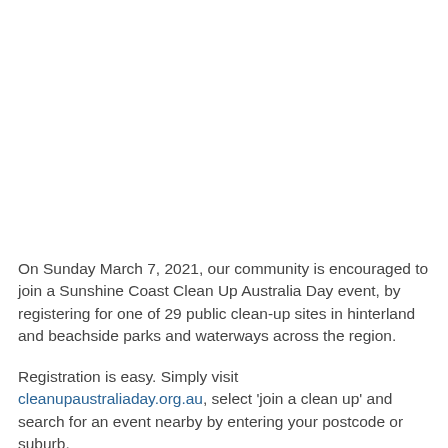On Sunday March 7, 2021, our community is encouraged to join a Sunshine Coast Clean Up Australia Day event, by registering for one of 29 public clean-up sites in hinterland and beachside parks and waterways across the region.
Registration is easy. Simply visit cleanupaustraliaday.org.au, select 'join a clean up' and search for an event nearby by entering your postcode or suburb.
Service Delivery Portfolio Holder Cr Winston Johnston said